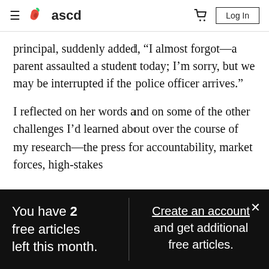ascd — Log In
principal, suddenly added, “I almost forgot—a parent assaulted a student today; I’m sorry, but we may be interrupted if the police officer arrives.”
I reflected on her words and on some of the other challenges I’d learned about over the course of my research—the press for accountability, market forces, high-stakes
You have 2 free articles left this month.
Create an account and get additional free articles.